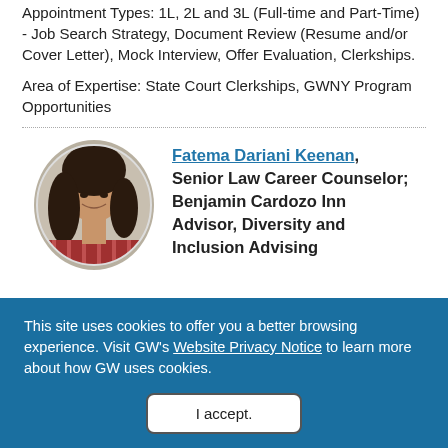Appointment Types: 1L, 2L and 3L (Full-time and Part-Time) - Job Search Strategy, Document Review (Resume and/or Cover Letter), Mock Interview, Offer Evaluation, Clerkships.
Area of Expertise: State Court Clerkships, GWNY Program Opportunities
[Figure (photo): Circular headshot photo of Fatema Dariani Keenan, a woman with long dark hair, smiling, wearing a red patterned top, photographed outdoors.]
Fatema Dariani Keenan, Senior Law Career Counselor; Benjamin Cardozo Inn Advisor, Diversity and Inclusion Advising
This site uses cookies to offer you a better browsing experience. Visit GW's Website Privacy Notice to learn more about how GW uses cookies.